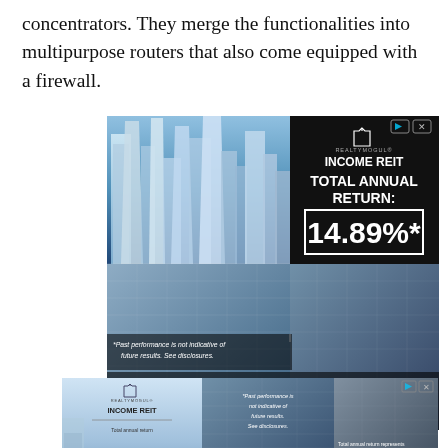concentrators. They merge the functionalities into multipurpose routers that also come equipped with a firewall.
[Figure (advertisement): RealtyMogul Income REIT advertisement showing skyscraper skyline photo on left, black panel on right with text: INCOME REIT, TOTAL ANNUAL RETURN: 14.89%*. Disclaimer text: *Past performance is not indicative of future results. See disclosures. * Total annual return represents the most recent consecutive twelve-month period immediately preceding 3/31/22]
[Figure (advertisement): Second RealtyMogul Income REIT ad banner showing: logo with total annual return 14.89%*, building photos, and disclaimer text about past performance and total annual return representing most recent consecutive twelve-month period immediately preceding 3/31/22]